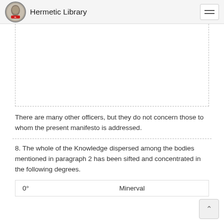Hermetic Library
[Figure (other): Placeholder image area with dotted border — content not visible (white/blank space)]
There are many other officers, but they do not concern those to whom the present manifesto is addressed.
8. The whole of the Knowledge dispersed among the bodies mentioned in paragraph 2 has been sifted and concentrated in the following degrees.
| Degree | Name |
| --- | --- |
| 0° | Minerval |